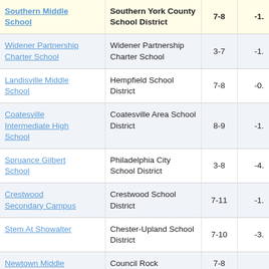| School | District | Grades | Score |
| --- | --- | --- | --- |
| Southern Middle School | Southern York County School District | 7-8 | -1. |
| Widener Partnership Charter School | Widener Partnership Charter School | 3-7 | -1. |
| Landisville Middle School | Hempfield School District | 7-8 | -0. |
| Coatesville Intermediate High School | Coatesville Area School District | 8-9 | -1. |
| Spruance Gilbert School | Philadelphia City School District | 3-8 | -4. |
| Crestwood Secondary Campus | Crestwood School District | 7-11 | -1. |
| Stem At Showalter | Chester-Upland School District | 7-10 | -3. |
| Newtown Middle | Council Rock | 7-8 |  |